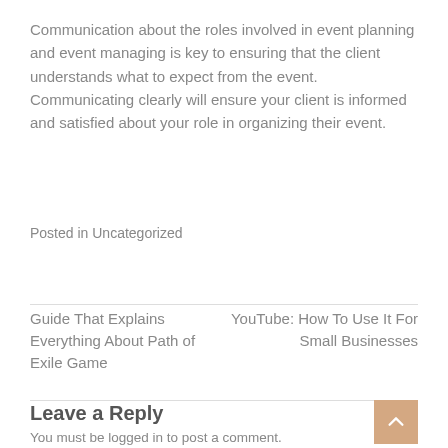Communication about the roles involved in event planning and event managing is key to ensuring that the client understands what to expect from the event. Communicating clearly will ensure your client is informed and satisfied about your role in organizing their event.
Posted in Uncategorized
Guide That Explains Everything About Path of Exile Game
YouTube: How To Use It For Small Businesses
Leave a Reply
You must be logged in to post a comment.